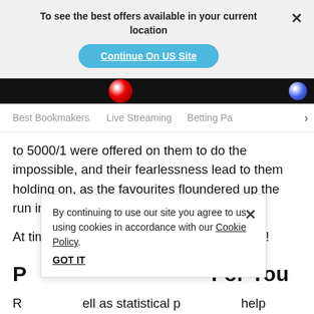To see the best offers available in your current location
[Figure (screenshot): Blue CTA button labeled 'Continue On US Site']
[Figure (screenshot): Black image strip with sports balls]
Best Bookmakers    Live Streaming    Betting Pa…
to 5000/1 were offered on them to do the impossible, and their fearlessness lead to them holding on, as the favourites floundered up the run in.
At times, fortune definitely favours the brave!
P… For You
R…ell as statistical p…help identify a good underdog bet. Knowing the head-to-head
By continuing to use our site you agree to us using cookies in accordance with our Cookie Policy.
GOT IT